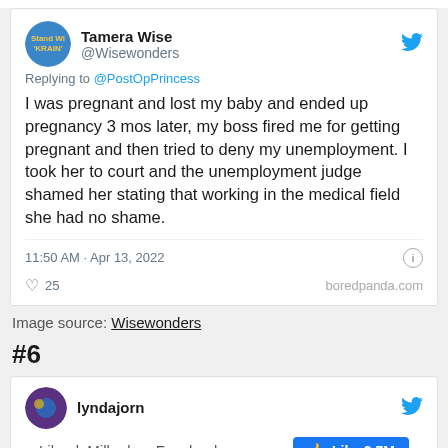[Figure (screenshot): Tweet by Tamera Wise (@Wisewonders) replying to @PostOpPrincess. Text: 'I was pregnant and lost my baby and ended up pregnancy 3 mos later, my boss fired me for getting pregnant and then tried to deny my unemployment. I took her to court and the unemployment judge shamed her stating that working in the medical field she had no shame.' Time: 11:50 AM · Apr 13, 2022. Likes: 25. Source: boredpanda.com]
Image source: Wisewonders
#6
[Figure (screenshot): Partial tweet by lyndajorn with Twitter bird icon. Below: 'Like deMilked on Facebook' with a blue Facebook Like button showing 2.7M likes.]